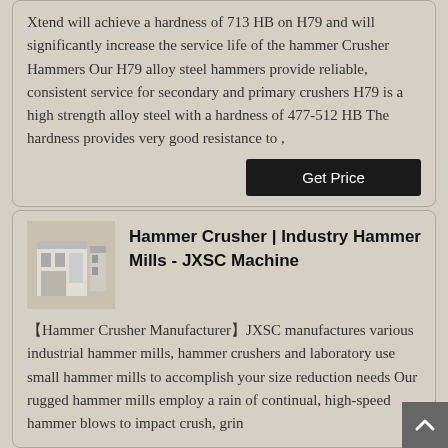Xtend will achieve a hardness of 713 HB on H79 and will significantly increase the service life of the hammer Crusher Hammers Our H79 alloy steel hammers provide reliable, consistent service for secondary and primary crushers H79 is a high strength alloy steel with a hardness of 477-512 HB The hardness provides very good resistance to ,
[Figure (other): Get Price button - dark black rectangular button with white text]
[Figure (photo): Thumbnail photo of industrial hammer crusher machine in a facility]
Hammer Crusher | Industry Hammer Mills - JXSC Machine
【Hammer Crusher Manufacturer】JXSC manufactures various industrial hammer mills, hammer crushers and laboratory use small hammer mills to accomplish your size reduction needs Our rugged hammer mills employ a rain of continual, high-speed hammer blows to impact crush, grin